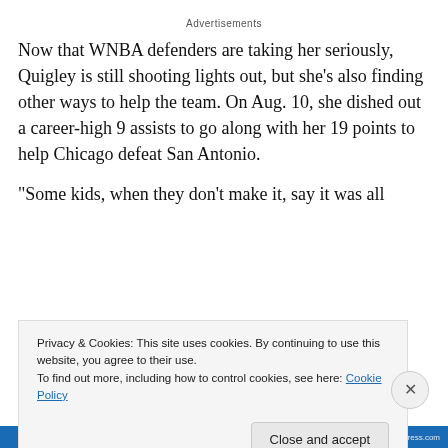Advertisements
Now that WNBA defenders are taking her seriously, Quigley is still shooting lights out, but she's also finding other ways to help the team. On Aug. 10, she dished out a career-high 9 assists to go along with her 19 points to help Chicago defeat San Antonio.
“Some kids, when they don’t make it, say it was all
Privacy & Cookies: This site uses cookies. By continuing to use this website, you agree to their use.
To find out more, including how to control cookies, see here: Cookie Policy
Close and accept